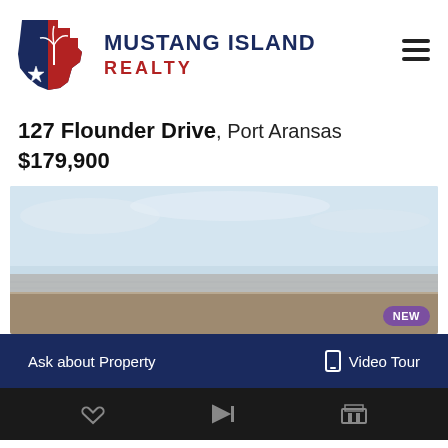[Figure (logo): Mustang Island Realty logo with Texas state outline in blue and red with a palm tree, accompanied by the text MUSTANG ISLAND REALTY]
127 Flounder Drive, Port Aransas
$179,900
[Figure (photo): Aerial photograph of a flat coastal landscape near Port Aransas, showing sandy terrain, water, and overcast sky]
Ask about Property
Video Tour